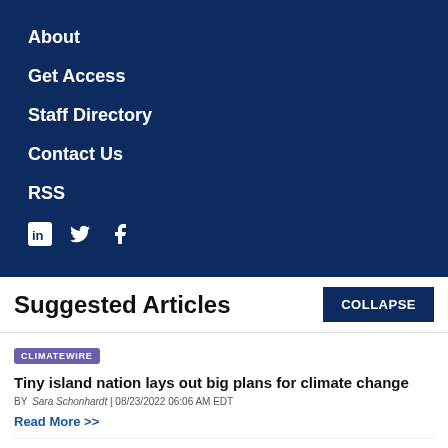About
Get Access
Staff Directory
Contact Us
RSS
[Figure (illustration): Social media icons: LinkedIn, Twitter, Facebook]
Suggested Articles
CLIMATEWIRE
Tiny island nation lays out big plans for climate change
BY Sara Schonhardt | 08/23/2022 06:06 AM EDT
Read More >>
CLIMATEWIRE
The top 10 emitting power plants in America